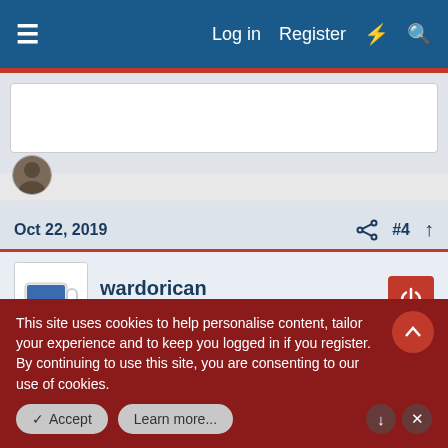Log in   Register
Oct 22, 2019   #4
wardorican
Well-known member
Ayo said:
This site uses cookies to help personalise content, tailor your experience and to keep you logged in if you register.
By continuing to use this site, you are consenting to our use of cookies.
Accept   Learn more...